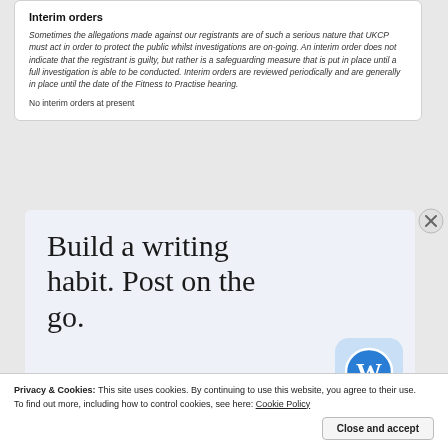Interim orders
Sometimes the allegations made against our registrants are of such a serious nature that UKCP must act in order to protect the public whilst investigations are on-going. An interim order does not indicate that the registrant is guilty, but rather is a safeguarding measure that is put in place until a full investigation is able to be conducted. Interim orders are reviewed periodically and are generally in place until the date of the Fitness to Practise hearing.
No interim orders at present
[Figure (infographic): WordPress advertisement banner reading 'Build a writing habit. Post on the go.' with a 'GET THE APP' link and WordPress logo icon.]
Privacy & Cookies: This site uses cookies. By continuing to use this website, you agree to their use.
To find out more, including how to control cookies, see here: Cookie Policy
Close and accept